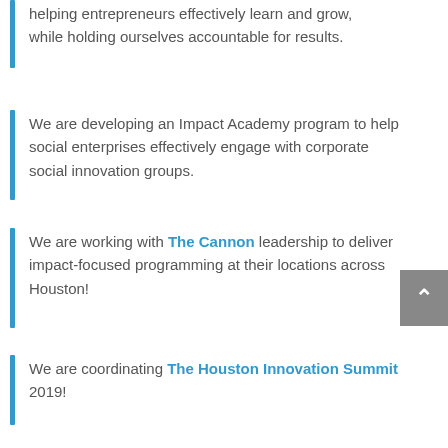helping entrepreneurs effectively learn and grow, while holding ourselves accountable for results.
We are developing an Impact Academy program to help social enterprises effectively engage with corporate social innovation groups.
We are working with The Cannon leadership to deliver impact-focused programming at their locations across Houston!
We are coordinating The Houston Innovation Summit 2019!
We are organizing TEDxHouston 2019, and preparing for TEDxHouston's Tenth Anniversary in 2020!